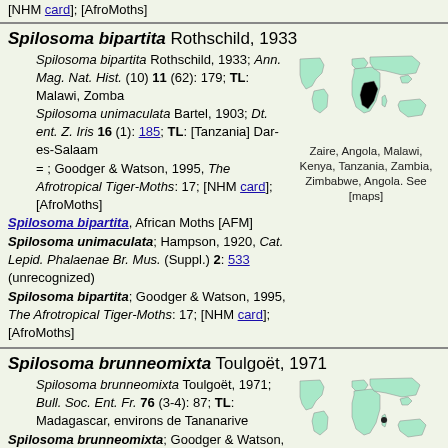[NHM card]; [AfroMoths]
Spilosoma bipartita Rothschild, 1933
Spilosoma bipartita Rothschild, 1933; Ann. Mag. Nat. Hist. (10) 11 (62): 179; TL: Malawi, Zomba
Spilosoma unimaculata Bartel, 1903; Dt. ent. Z. Iris 16 (1): 185; TL: [Tanzania] Dar-es-Salaam
= ; Goodger & Watson, 1995, The Afrotropical Tiger-Moths: 17; [NHM card]; [AfroMoths]
Spilosoma bipartita, African Moths [AFM]
Spilosoma unimaculata; Hampson, 1920, Cat. Lepid. Phalaenae Br. Mus. (Suppl.) 2: 533 (unrecognized)
Spilosoma bipartita; Goodger & Watson, 1995, The Afrotropical Tiger-Moths: 17; [NHM card]; [AfroMoths]
[Figure (map): World map showing distribution in Zaire, Angola, Malawi, Kenya, Tanzania, Zambia, Zimbabwe, Angola highlighted in black in southern/eastern Africa]
Zaire, Angola, Malawi, Kenya, Tanzania, Zambia, Zimbabwe, Angola. See [maps]
Spilosoma brunneomixta Toulgoët, 1971
Spilosoma brunneomixta Toulgoët, 1971; Bull. Soc. Ent. Fr. 76 (3-4): 87; TL: Madagascar, environs de Tananarive
Spilosoma brunneomixta; Goodger & Watson, 1995, The Afrotropical Tiger-Moths: 17; [NHM card]; [AfroMoths]
[Figure (map): World map showing distribution in Madagascar highlighted with a small mark]
Madagascar. See [maps]